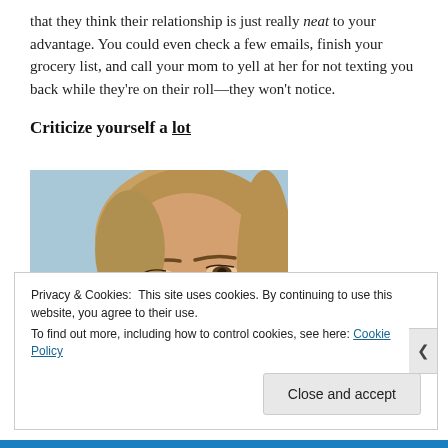that they think their relationship is just really neat to your advantage. You could even check a few emails, finish your grocery list, and call your mom to yell at her for not texting you back while they're on their roll—they won't notice.
Criticize yourself a lot
[Figure (photo): Close-up photo of a blonde woman's face looking slightly downward, with light blue background.]
Privacy & Cookies: This site uses cookies. By continuing to use this website, you agree to their use.
To find out more, including how to control cookies, see here: Cookie Policy